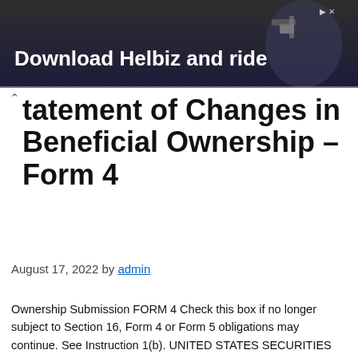[Figure (photo): Advertisement banner: dark background with a person holding a camera, text reads 'Download Helbiz and ride' with a close/arrow button in the top right.]
Statement of Changes in Beneficial Ownership – Form 4
August 17, 2022 by admin
Ownership Submission FORM 4 Check this box if no longer subject to Section 16, Form 4 or Form 5 obligations may continue. See Instruction 1(b). UNITED STATES SECURITIES AND EXCHANGE COMMISSIONWashington, DC 20549STATEMENT OF CHANGES IN BENEFICIAL OWNERSHIP OF SECURITIES Filed